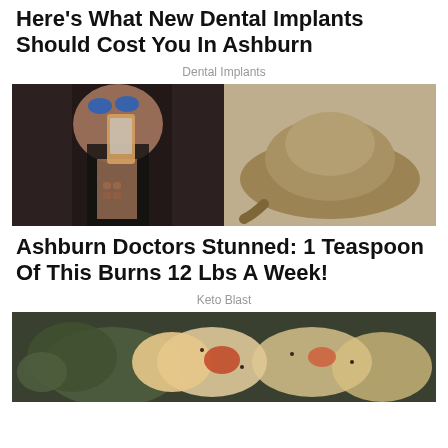Here's What New Dental Implants Should Cost You In Ashburn
Dental Implants
[Figure (photo): Left: Woman in black swimsuit taking mirror selfie showing abs, wearing blue sunglasses. Right: Mound of brown powder on a wooden spoon.]
Ashburn Doctors Stunned: 1 Teaspoon Of This Burns 12 Lbs A Week!
Keto Blast
[Figure (photo): Food photo showing cooked dumplings or gnocchi with sauce and garnishes on a plate.]